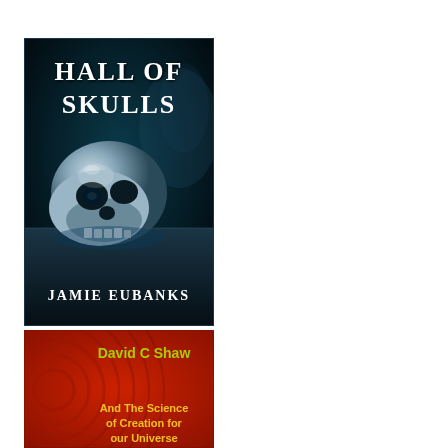[Figure (illustration): Book cover for 'Hall of Skulls' by Jamie Eubanks. Dark teal/blue background with a glowing human skull on a reflective surface. Title text 'HALL OF SKULLS' in white at top, author name 'JAMIE EUBANKS' in white at bottom.]
[Figure (illustration): Book cover for a book by David C Shaw about 'And The Science of Creation for our Universe'. Red background with circular wave patterns. Author name 'David C Shaw' in green/yellow at top, subtitle text in yellow at bottom.]